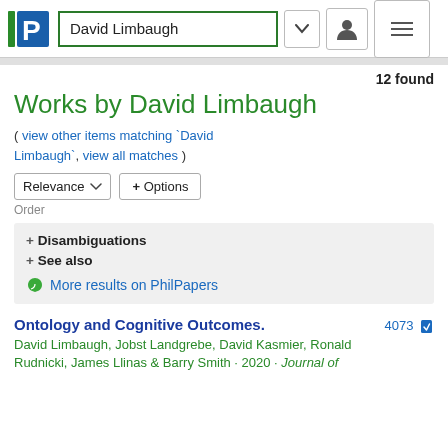David Limbaugh
12 found
Works by David Limbaugh
( view other items matching `David Limbaugh`, view all matches )
Relevance  + Options
Order
+ Disambiguations
+ See also
🍃 More results on PhilPapers
Ontology and Cognitive Outcomes. 4073
David Limbaugh, Jobst Landgrebe, David Kasmier, Ronald Rudnicki, James Llinas & Barry Smith · 2020 · Journal of